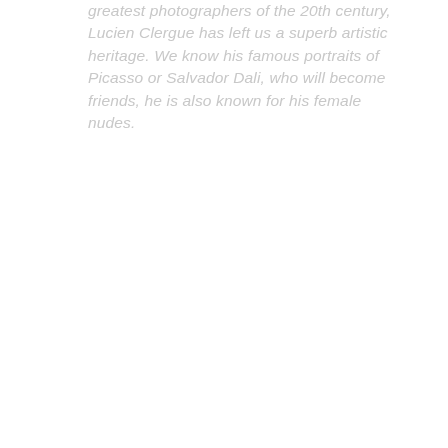greatest photographers of the 20th century, Lucien Clergue has left us a superb artistic heritage. We know his famous portraits of Picasso or Salvador Dali, who will become friends, he is also known for his female nudes.